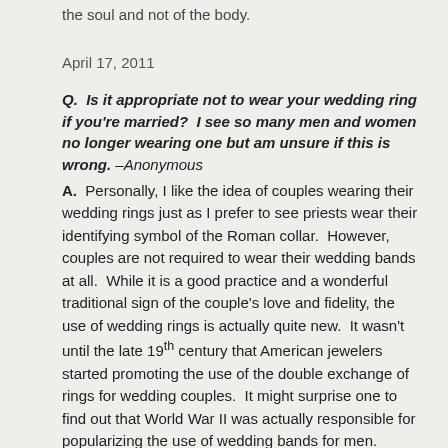the soul and not of the body.
April 17, 2011
Q.  Is it appropriate not to wear your wedding ring if you're married?  I see so many men and women no longer wearing one but am unsure if this is wrong. –Anonymous
A.  Personally, I like the idea of couples wearing their wedding rings just as I prefer to see priests wear their identifying symbol of the Roman collar.  However, couples are not required to wear their wedding bands at all.  While it is a good practice and a wonderful traditional sign of the couple's love and fidelity, the use of wedding rings is actually quite new.  It wasn't until the late 19th century that American jewelers started promoting the use of the double exchange of rings for wedding couples.  It might surprise one to find out that World War II was actually responsible for popularizing the use of wedding bands for men.  Young soldiers who married their high school sweethearts before going to war (and there were lots of them) started the trend of proudly wearing their wedding band as a sign of their faithfulness to their married loved one.  The other non-servicemen wives thought it was a great idea and